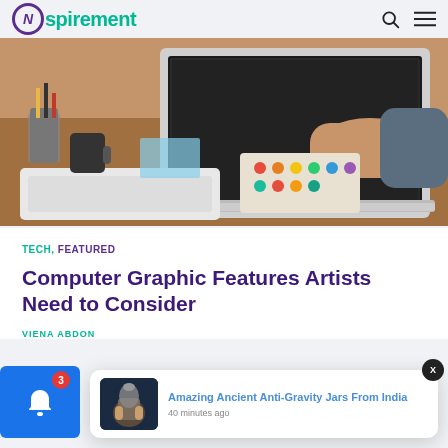Nspirement
[Figure (photo): Person using a laptop on a wooden desk with keyboard, watercolor palette, and stationery visible]
TECH, FEATURED
Computer Graphic Features Artists Need to Consider
VIENA ABDON
[Figure (screenshot): Notification popup showing 'Amazing Ancient Anti-Gravity Jars From India' with thumbnail and '40 minutes ago' timestamp]